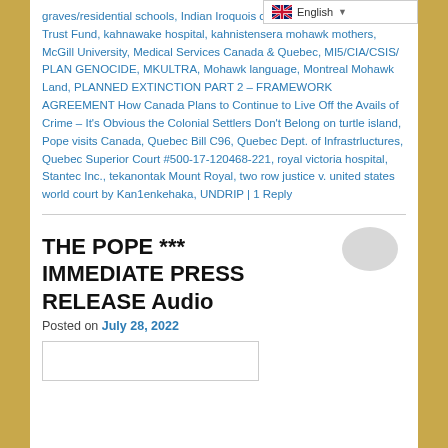graves/residential schools, Indian Iroquois confederacy, Iroquois Indian Trust Fund, kahnawake hospital, kahnistensera mohawk mothers, McGill University, Medical Services Canada & Quebec, MI5/CIA/CSIS/ PLAN GENOCIDE, MKULTRA, Mohawk language, Montreal Mohawk Land, PLANNED EXTINCTION PART 2 – FRAMEWORK AGREEMENT How Canada Plans to Continue to Live Off the Avails of Crime – It's Obvious the Colonial Settlers Don't Belong on turtle island, Pope visits Canada, Quebec Bill C96, Quebec Dept. of Infrastrluctures, Quebec Superior Court #500-17-120468-221, royal victoria hospital, Stantec Inc., tekanontak Mount Royal, two row justice v. united states world court by Kan1enkehaka, UNDRIP | 1 Reply
[Figure (screenshot): Language selector widget showing English with UK flag]
THE POPE *** IMMEDIATE PRESS RELEASE Audio
Posted on July 28, 2022